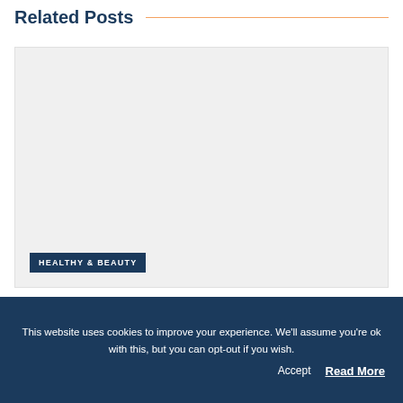Related Posts
[Figure (photo): Large light grey rectangular image placeholder area for a related post]
HEALTHY & BEAUTY
This website uses cookies to improve your experience. We'll assume you're ok with this, but you can opt-out if you wish.
Accept   Read More